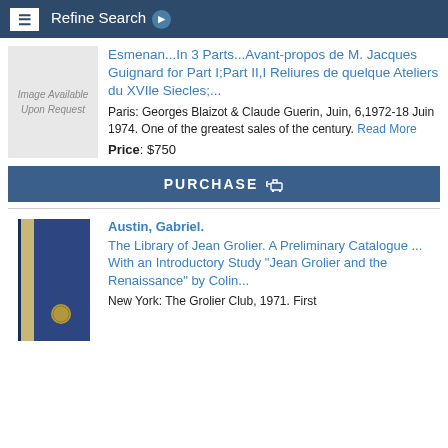Refine Search
Esmenan...In 3 Parts...Avant-propos de M. Jacques Guignard for Part I;Part II,I Reliures de quelque Ateliers du XVIIe Siecles;...
[Figure (photo): Image Available Upon Request placeholder box]
Paris: Georges Blaizot & Claude Guerin, Juin, 6,1972-18 Juin 1974. One of the greatest sales of the century. Read More
Price: $750
PURCHASE
Austin, Gabriel.
The Library of Jean Grolier. A Preliminary Catalogue ... With an Introductory Study "Jean Grolier and the Renaissance" by Colin...
[Figure (photo): Blue hardcover book spine, The Library of Jean Grolier]
New York: The Grolier Club, 1971. First